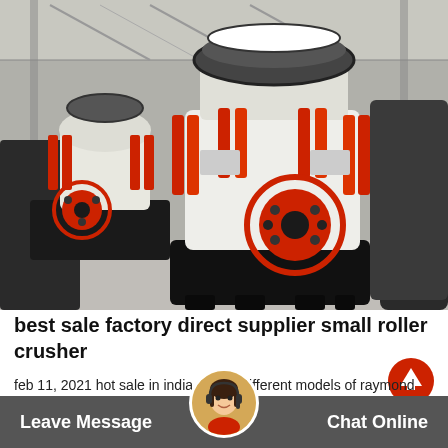[Figure (photo): Industrial cone crushers in a factory setting. Large white and red cone crusher machines with hydraulic cylinders visible, on black base frames. Two circular red-accented components visible in foreground.]
best sale factory direct supplier small roller crusher
[Figure (other): Red circle scroll-to-top button with upward arrow]
feb 11, 2021 hot sale in india quality different models of raymond mill.raymond roller mill 4r3 the sandmaker is a global company with raymond mill p sold to posted at jund500 hot
[Figure (photo): Customer service avatar - woman with headset]
Leave Message    Chat Online